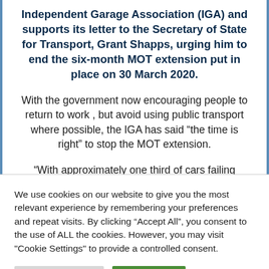Independent Garage Association (IGA) and supports its letter to the Secretary of State for Transport, Grant Shapps, urging him to end the six-month MOT extension put in place on 30 March 2020.
With the government now encouraging people to return to work , but avoid using public transport where possible, the IGA has said “the time is right” to stop the MOT extension.
“With approximately one third of cars failing
We use cookies on our website to give you the most relevant experience by remembering your preferences and repeat visits. By clicking “Accept All”, you consent to the use of ALL the cookies. However, you may visit "Cookie Settings" to provide a controlled consent.